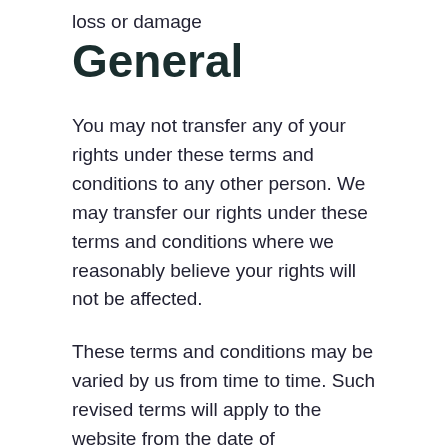loss or damage
General
You may not transfer any of your rights under these terms and conditions to any other person. We may transfer our rights under these terms and conditions where we reasonably believe your rights will not be affected.
These terms and conditions may be varied by us from time to time. Such revised terms will apply to the website from the date of